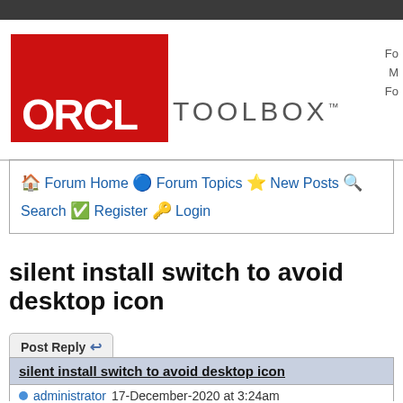ORCL TOOLBOX™
🏠 Forum Home 🔵 Forum Topics ⭐ New Posts 🔍 Search ✅ Register 🔑 Login
silent install switch to avoid desktop icon
Post Reply
silent install switch to avoid desktop icon
administrator 17-December-2020 at 3:24am
Quote   Reply
Just tested it, you are right - the /noicons won't